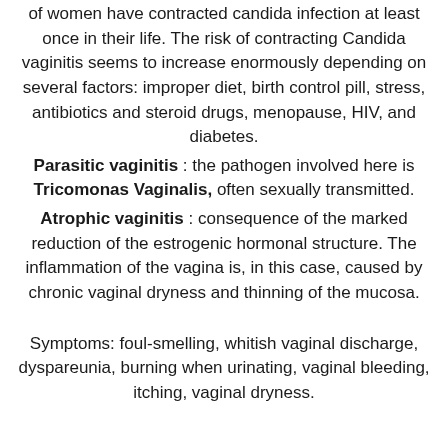of women have contracted candida infection at least once in their life. The risk of contracting Candida vaginitis seems to increase enormously depending on several factors: improper diet, birth control pill, stress, antibiotics and steroid drugs, menopause, HIV, and diabetes.
Parasitic vaginitis : the pathogen involved here is Tricomonas Vaginalis, often sexually transmitted.
Atrophic vaginitis : consequence of the marked reduction of the estrogenic hormonal structure. The inflammation of the vagina is, in this case, caused by chronic vaginal dryness and thinning of the mucosa.
Symptoms: foul-smelling, whitish vaginal discharge, dyspareunia, burning when urinating, vaginal bleeding, itching, vaginal dryness.